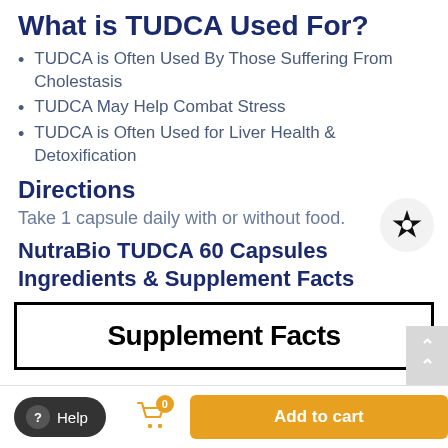What is TUDCA Used For?
TUDCA is Often Used By Those Suffering From Cholestasis
TUDCA May Help Combat Stress
TUDCA is Often Used for Liver Health & Detoxification
Directions
Take 1 capsule daily with or without food.
NutraBio TUDCA 60 Capsules Ingredients & Supplement Facts
[Figure (other): Supplement Facts panel header showing bold text 'Supplement Facts' in a bordered box]